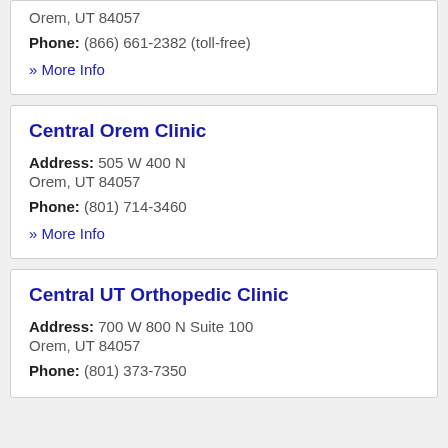Orem, UT 84057
Phone: (866) 661-2382 (toll-free)
» More Info
Central Orem Clinic
Address: 505 W 400 N
Orem, UT 84057
Phone: (801) 714-3460
» More Info
Central UT Orthopedic Clinic
Address: 700 W 800 N Suite 100
Orem, UT 84057
Phone: (801) 373-7350